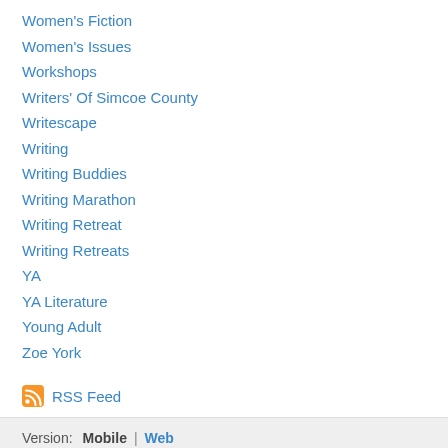Women's Fiction
Women's Issues
Workshops
Writers' Of Simcoe County
Writescape
Writing
Writing Buddies
Writing Marathon
Writing Retreat
Writing Retreats
YA
YA Literature
Young Adult
Zoe York
RSS Feed
Version:  Mobile | Web
Created with Weebly  Get the App